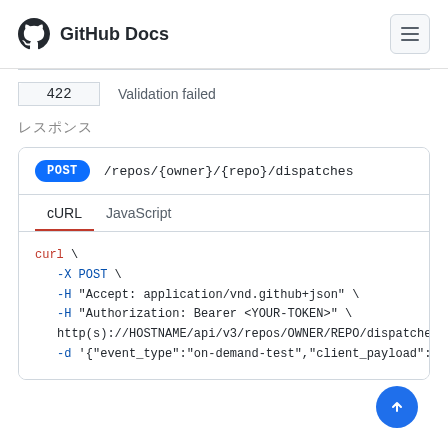GitHub Docs
| Status | Description |
| --- | --- |
| 422 | Validation failed |
レスポンス
POST /repos/{owner}/{repo}/dispatches
cURL  JavaScript
curl \
  -X POST \
  -H "Accept: application/vnd.github+json" \
  -H "Authorization: Bearer <YOUR-TOKEN>" \
  http(s)://HOSTNAME/api/v3/repos/OWNER/REPO/dispatches \
  -d '{"event_type":"on-demand-test","client_payload":{"u